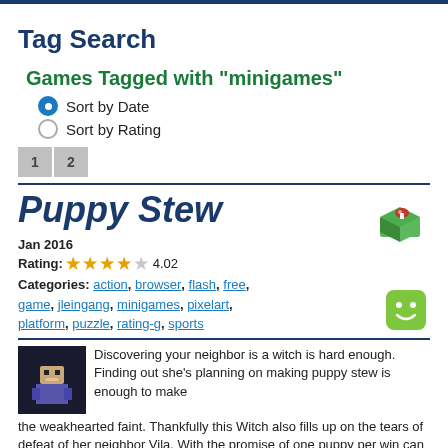Tag Search
Games Tagged with "minigames"
Sort by Date
Sort by Rating
1  2
Puppy Stew
Jan 2016
Rating: 4.02
Categories: action, browser, flash, free, game, jleingang, minigames, pixelart, platform, puzzle, rating-g, sports
Discovering your neighbor is a witch is hard enough. Finding out she's planning on making puppy stew is enough to make the weakhearted faint. Thankfully this Witch also fills up on the tears of defeat of her neighbor Vila. With the promise of one puppy per win can you